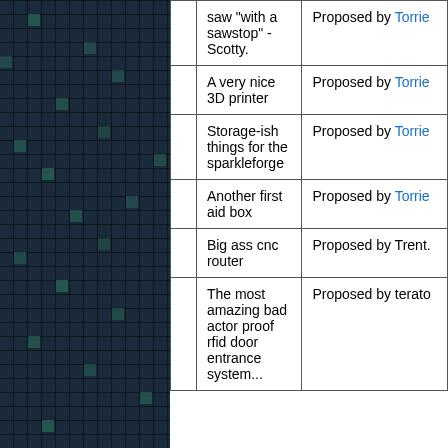[Figure (other): Dark blue grid/mosaic pattern image on the left side of the page, resembling a pixelated or tiled background with teal/green accent cells.]
|  | Description | Proposed By |
| --- | --- | --- |
|  | saw "with a sawstop" - Scotty. | Proposed by Torrie |
|  | A very nice 3D printer | Proposed by Torrie |
|  | Storage-ish things for the sparkleforge | Proposed by Torrie |
|  | Another first aid box | Proposed by Torrie |
|  | Big ass cnc router | Proposed by Trent. |
|  | The most amazing bad actor proof rfid door entrance system... | Proposed by terato |